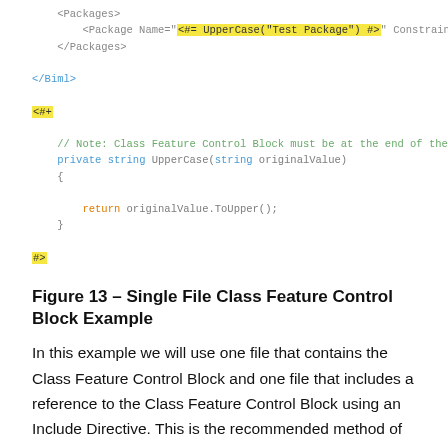[Figure (screenshot): Code snippet showing XML and C# code for a Single File Class Feature Control Block Example, with syntax highlighting]
Figure 13 – Single File Class Feature Control Block Example
In this example we will use one file that contains the Class Feature Control Block and one file that includes a reference to the Class Feature Control Block using an Include Directive. This is the recommended method of using a Class Feature Control Block which enables code reuse.